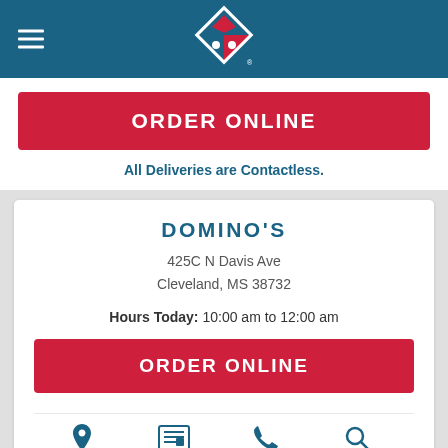[Figure (logo): Domino's Pizza logo — red and blue diamond with dots, white outline, on teal header bar with hamburger menu icon]
ORDER ONLINE
All Deliveries are Contactless.
DOMINO'S
425C N Davis Ave
Cleveland, MS 38732
Hours Today: 10:00 am to 12:00 am
ORDER ONLINE
Map  Details  Call  Search